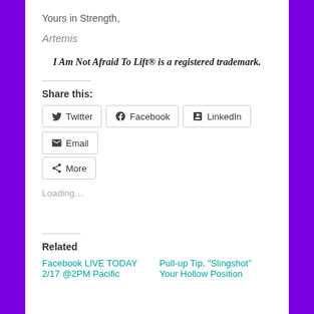Yours in Strength,
Artemis
I Am Not Afraid To Lift® is a registered trademark.
Share this:
Loading...
Related
Facebook LIVE TODAY 2/17 @2PM Pacific
Pull-up Tip, "Slingshot" Your Hollow Position